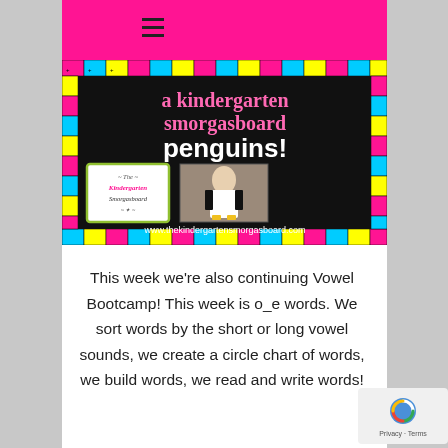[Figure (illustration): A kindergarten smorgasboard penguins! banner image with colorful mosaic border, black background, pink and white text, logo box and photo of person in penguin costume, URL www.thekindergartensmorgasboard.com]
This week we're also continuing Vowel Bootcamp! This week is o_e words. We sort words by the short or long vowel sounds, we create a circle chart of words, we build words, we read and write words!